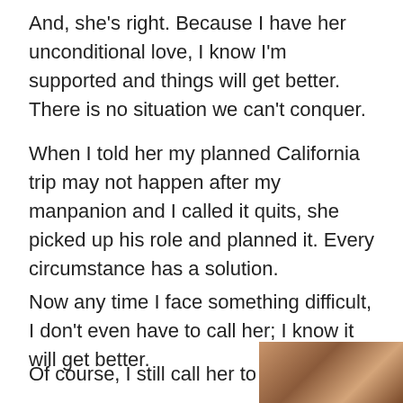And, she's right. Because I have her unconditional love, I know I'm supported and things will get better. There is no situation we can't conquer.
When I told her my planned California trip may not happen after my manpanion and I called it quits, she picked up his role and planned it. Every circumstance has a solution.
Now any time I face something difficult, I don't even have to call her; I know it will get better.
Of course, I still call her to be sure...
[Figure (photo): Partial photo of a person visible at the bottom right corner of the page]